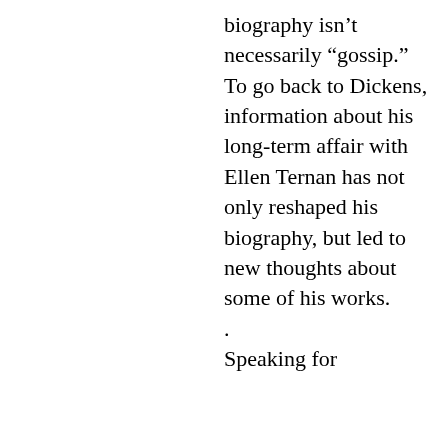biography isn't necessarily “gossip.” To go back to Dickens, information about his long-term affair with Ellen Ternan has not only reshaped his biography, but led to new thoughts about some of his works.
.
Speaking for